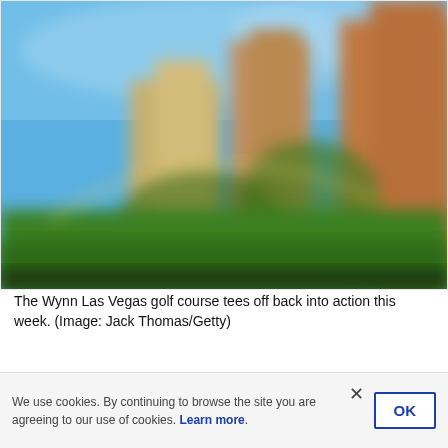[Figure (photo): Blurred photograph of the Wynn Las Vegas hotel and golf course under a blue sky, showing tall hotel towers and green grass in the foreground.]
The Wynn Las Vegas golf course tees off back into action this week. (Image: Jack Thomas/Getty)
In December of 2017, then-CEO Steve Wynn closed his
We use cookies. By continuing to browse the site you are agreeing to our use of cookies. Learn more.